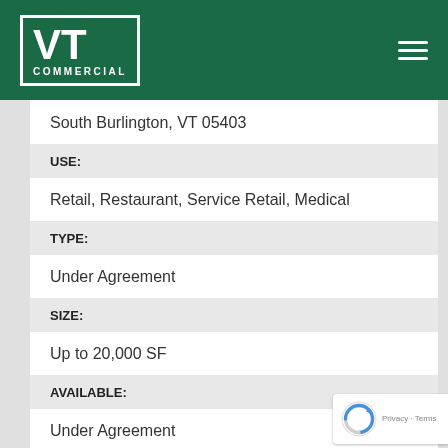[Figure (logo): VT Commercial logo — white VT letters in a white-bordered box with COMMERCIAL text below, on dark green background header with hamburger menu icon]
South Burlington, VT 05403
USE:
Retail, Restaurant, Service Retail, Medical
TYPE:
Under Agreement
SIZE:
Up to 20,000 SF
AVAILABLE:
Under Agreement